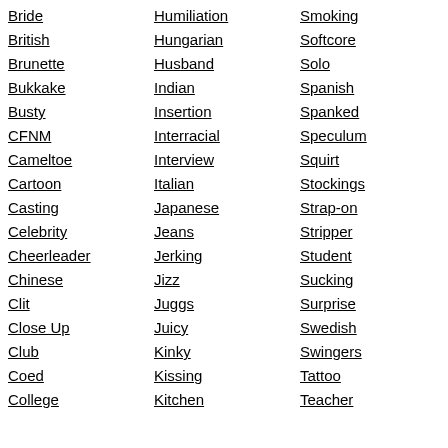Bride
British
Brunette
Bukkake
Busty
CFNM
Cameltoe
Cartoon
Casting
Celebrity
Cheerleader
Chinese
Clit
Close Up
Club
Coed
College
Humiliation
Hungarian
Husband
Indian
Insertion
Interracial
Interview
Italian
Japanese
Jeans
Jerking
Jizz
Juggs
Juicy
Kinky
Kissing
Kitchen
Smoking
Softcore
Solo
Spanish
Spanked
Speculum
Squirt
Stockings
Strap-on
Stripper
Student
Sucking
Surprise
Swedish
Swingers
Tattoo
Teacher